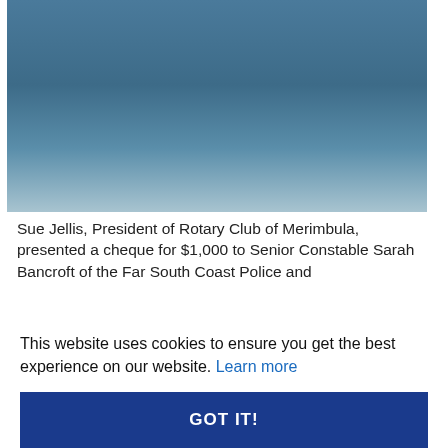[Figure (photo): Photo of four young female acrobats/gymnasts in sportswear holding a large cheque from Rotary Club of Merimbula made out to 'Three Acrobats' for two thousand one hundred and sixty dollars ($2,160) for Australian Championships, with an adult in the center wearing a dark shirt.]
Sue Jellis, President of Rotary Club of Merimbula, presented a cheque for $1,000 to Senior Constable Sarah Bancroft of the Far South Coast Police and
This website uses cookies to ensure you get the best experience on our website. Learn more
GOT IT!